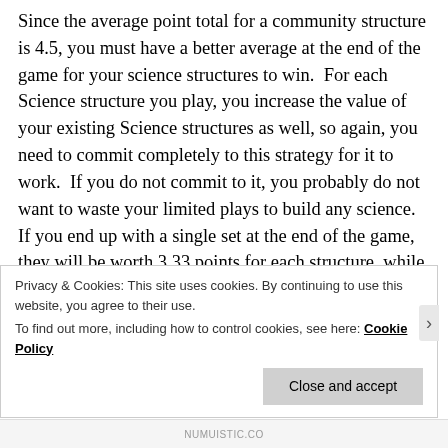Since the average point total for a community structure is 4.5, you must have a better average at the end of the game for your science structures to win.  For each Science structure you play, you increase the value of your existing Science structures as well, so again, you need to commit completely to this strategy for it to work.  If you do not commit to it, you probably do not want to waste your limited plays to build any science.  If you end up with a single set at the end of the game, they will be worth 3.33 points for each structure, while acquiring 3 sets of each will make each of the 9 structures worth 5.33 points each, which should be
Privacy & Cookies: This site uses cookies. By continuing to use this website, you agree to their use.
To find out more, including how to control cookies, see here: Cookie Policy
Close and accept